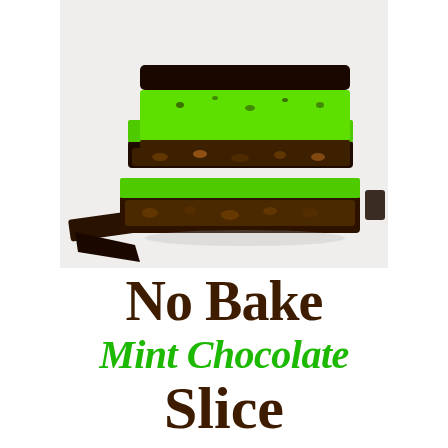[Figure (photo): Stacked no-bake mint chocolate slice bars showing layers: dark chocolate bottom, nutty middle layer, bright green mint filling, and dark chocolate top layer. Chocolate pieces visible on the side.]
No Bake Mint Chocolate Slice